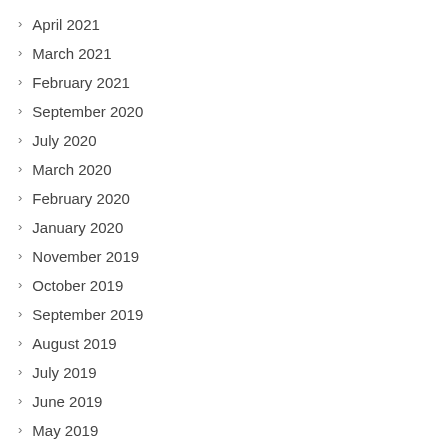April 2021
March 2021
February 2021
September 2020
July 2020
March 2020
February 2020
January 2020
November 2019
October 2019
September 2019
August 2019
July 2019
June 2019
May 2019